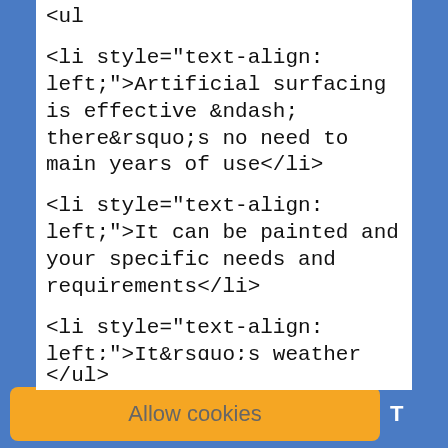<ul
<li style="text-align: left;">Artificial surfacing is effective &ndash; there&rsquo;s no need to main years of use</li>
<li style="text-align: left;">It can be painted and your specific needs and requirements</li>
<li style="text-align: left;">It&rsquo;s weather resistant</li>
<li style="text-align: left;">It&rsquo;s resistant t deterioration unlike other surfacing material</li>
<li style="text-align: left;">It&rsquo;s perfect fo variety of different sports and events</li>
</ul>
</ul>